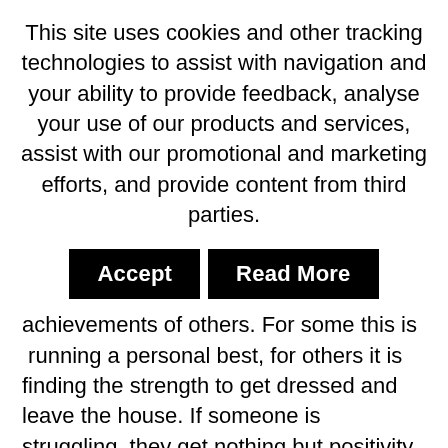This site uses cookies and other tracking technologies to assist with navigation and your ability to provide feedback, analyse your use of our products and services, assist with our promotional and marketing efforts, and provide content from third parties.
[Figure (other): Two buttons: 'Accept' (black background, white text) and 'Read More' (black background, white text)]
achievements or a recognition of the achievements of others. For some this is  running a personal best, for others it is finding the strength to get dressed and leave the house. If someone is struggling, they get nothing but positivity and encouragement from others. The way people talk about themselves, and the comments they get from others have a definite impact.
Having heard recently about the apple experiment I'm having a go, with RED in mind. The experiment involves